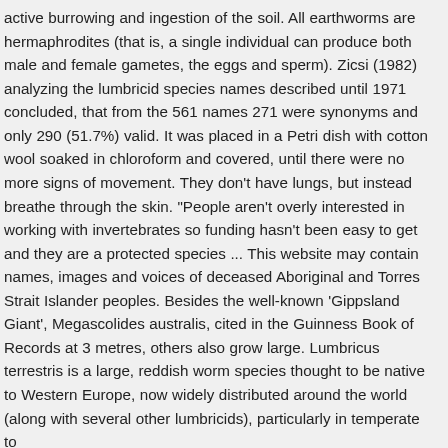active burrowing and ingestion of the soil. All earthworms are hermaphrodites (that is, a single individual can produce both male and female gametes, the eggs and sperm). Zicsi (1982) analyzing the lumbricid species names described until 1971 concluded, that from the 561 names 271 were synonyms and only 290 (51.7%) valid. It was placed in a Petri dish with cotton wool soaked in chloroform and covered, until there were no more signs of movement. They don't have lungs, but instead breathe through the skin. "People aren't overly interested in working with invertebrates so funding hasn't been easy to get and they are a protected species ... This website may contain names, images and voices of deceased Aboriginal and Torres Strait Islander peoples. Besides the well-known 'Gippsland Giant', Megascolides australis, cited in the Guinness Book of Records at 3 metres, others also grow large. Lumbricus terrestris is a large, reddish worm species thought to be native to Western Europe, now widely distributed around the world (along with several other lumbricids), particularly in temperate to